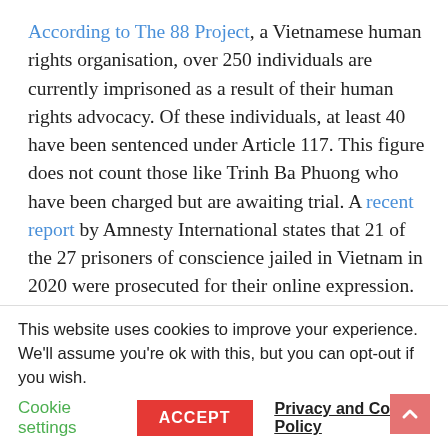According to The 88 Project, a Vietnamese human rights organisation, over 250 individuals are currently imprisoned as a result of their human rights advocacy. Of these individuals, at least 40 have been sentenced under Article 117. This figure does not count those like Trinh Ba Phuong who have been charged but are awaiting trial. A recent report by Amnesty International states that 21 of the 27 prisoners of conscience jailed in Vietnam in 2020 were prosecuted for their online expression.

Since the start of 2021, at least seven people have been
This website uses cookies to improve your experience. We'll assume you're ok with this, but you can opt-out if you wish.
Cookie settings   ACCEPT   Privacy and Cookie Policy